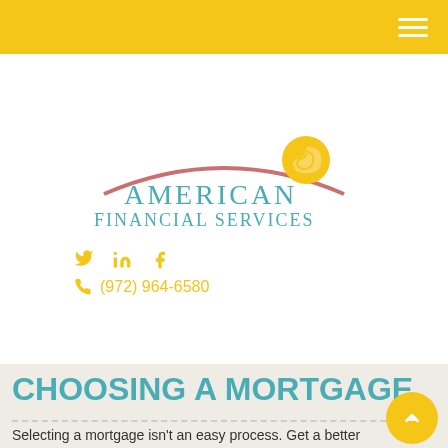Navigation header bar with hamburger menu
[Figure (logo): American Financial Services logo with teal text and decorative arch with spiral sun element in yellow and pink]
Twitter, LinkedIn, Facebook social icons
(972) 964-6580
CHOOSING A MORTGAGE
Selecting a mortgage isn't an easy process. Get a better